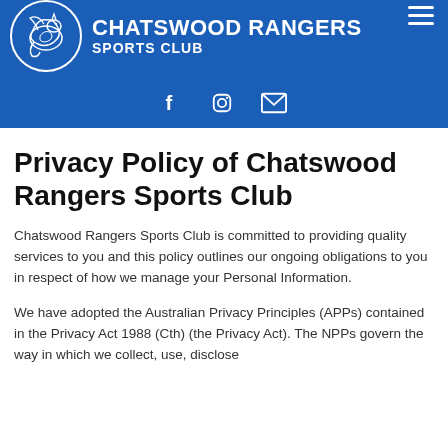[Figure (logo): Chatswood Rangers Sports Club logo with blue header, circular dragon emblem, club name, social media icons (Facebook, Instagram, Email), and hamburger menu]
Privacy Policy of Chatswood Rangers Sports Club
Chatswood Rangers Sports Club is committed to providing quality services to you and this policy outlines our ongoing obligations to you in respect of how we manage your Personal Information.
We have adopted the Australian Privacy Principles (APPs) contained in the Privacy Act 1988 (Cth) (the Privacy Act). The NPPs govern the way in which we collect, use, disclose